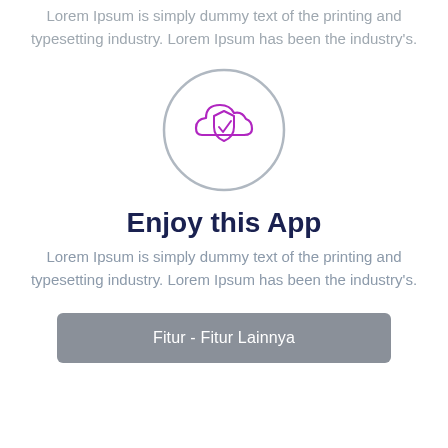Lorem Ipsum is simply dummy text of the printing and typesetting industry. Lorem Ipsum has been the industry's.
[Figure (illustration): A circular icon with a gray border containing a purple cloud with a shield and checkmark inside, representing a security or protection concept.]
Enjoy this App
Lorem Ipsum is simply dummy text of the printing and typesetting industry. Lorem Ipsum has been the industry's.
Fitur - Fitur Lainnya